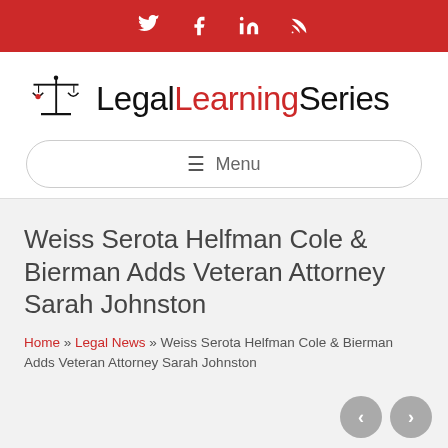Social icons: Twitter, Facebook, LinkedIn, RSS
[Figure (logo): LegalLearningSeries logo with scales of justice icon and text 'LegalLearningSeries' where 'Learning' is in red]
≡ Menu
Weiss Serota Helfman Cole & Bierman Adds Veteran Attorney Sarah Johnston
Home » Legal News » Weiss Serota Helfman Cole & Bierman Adds Veteran Attorney Sarah Johnston